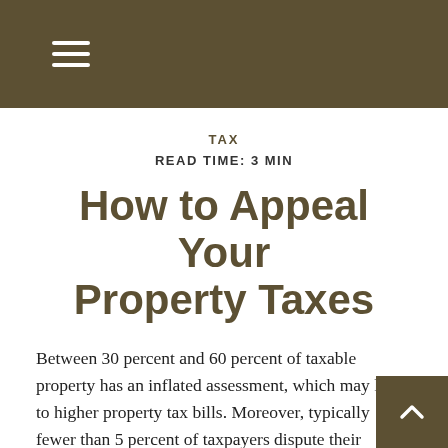TAX
READ TIME: 3 MIN
How to Appeal Your Property Taxes
Between 30 percent and 60 percent of taxable property has an inflated assessment, which may lead to higher property tax bills. Moreover, typically fewer than 5 percent of taxpayers dispute their assessment.¹
For homeowners who think their local government may have assessed their property's value too high, there are ways to appeal and potentially win a lower assessment, which may save hundreds or even thousands of dollars